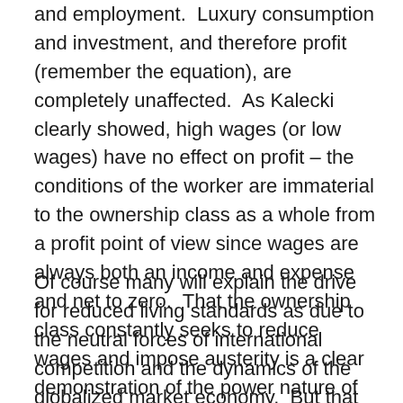and employment.  Luxury consumption and investment, and therefore profit (remember the equation), are completely unaffected.  As Kalecki clearly showed, high wages (or low wages) have no effect on profit – the conditions of the worker are immaterial to the ownership class as a whole from a profit point of view since wages are always both an income and expense and net to zero.  That the ownership class constantly seeks to reduce wages and impose austerity is a clear demonstration of the power nature of the relationship.  The reason is power and not profit.  A fully secure and prosperous population is not remotely conducive to a hierarchical system of power.
Of course many will explain the drive for reduced living standards as due to the neutral forces of international competition and the dynamics of the globalized market economy.  But that should be seen as absurdly